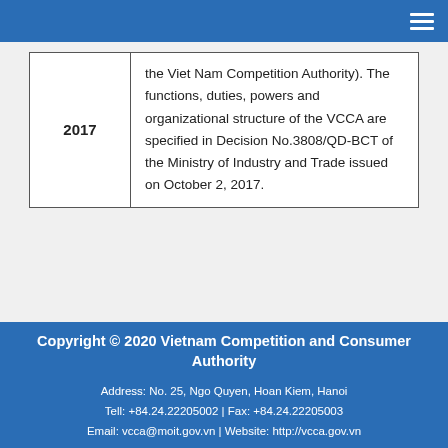| Year | Description |
| --- | --- |
| 2017 | the Viet Nam Competition Authority). The functions, duties, powers and organizational structure of the VCCA are specified in Decision No.3808/QD-BCT of the Ministry of Industry and Trade issued on October 2, 2017. |
Copyright © 2020 Vietnam Competition and Consumer Authority
Address: No. 25, Ngo Quyen, Hoan Kiem, Hanoi
Tell: +84.24.22205002 | Fax: +84.24.22205003
Email: vcca@moit.gov.vn | Website: http://vcca.gov.vn